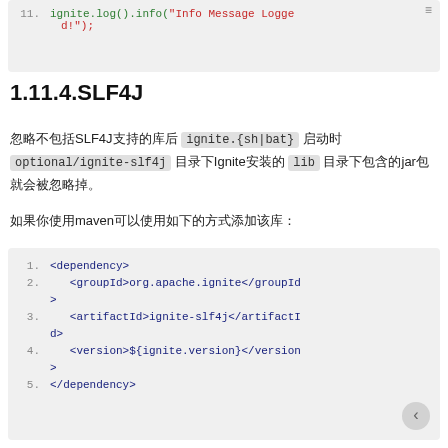[Figure (screenshot): Code block showing line 11: ignite.log().info('Info Message Logged!');]
1.11.4.SLF4J
忽略不包括SLF4J支持的库后 ignite.{sh|bat} 启动时 optional/ignite-slf4j 目录下Ignite安装的 lib 目录下包含的jar包就会被忽略掉。
如果你使用maven可以使用如下的方式添加该库：
[Figure (screenshot): XML code block showing Maven dependency for ignite-slf4j with groupId, artifactId, and version tags.]